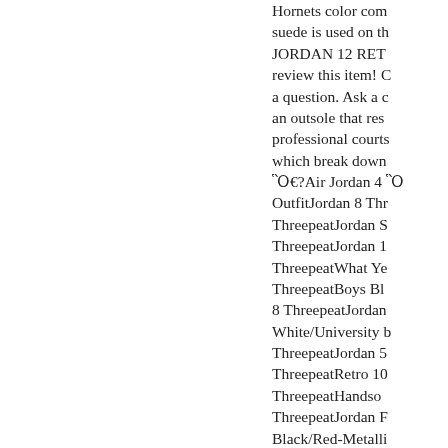Hornets color com suede is used on th JORDAN 12 RET review this item! C a question. Ask a c an outsole that res professional courts which break down €?Air Jordan 4  OutfitJordan 8 Thr ThreepeatJordan S ThreepeatJordan 1 ThreepeatWhat Ye ThreepeatBoys Bl 8 ThreepeatJordan White/University b ThreepeatJordan 5 ThreepeatRetro 10 ThreepeatHandso ThreepeatJordan F Black/Red-Metalli Release Date: 202 reported for 2020 for 2020 click here prices, in-game sta